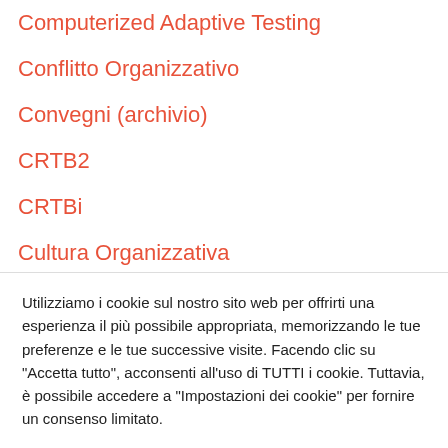Computerized Adaptive Testing
Conflitto Organizzativo
Convegni (archivio)
CRTB2
CRTBi
Cultura Organizzativa
Curriculum Vitae
dipendenza da lavoro
Utilizziamo i cookie sul nostro sito web per offrirti una esperienza il più possibile appropriata, memorizzando le tue preferenze e le tue successive visite. Facendo clic su "Accetta tutto", acconsenti all'uso di TUTTI i cookie. Tuttavia, è possibile accedere a "Impostazioni dei cookie" per fornire un consenso limitato.
Impostazioni dei cookies | Accetta tutto